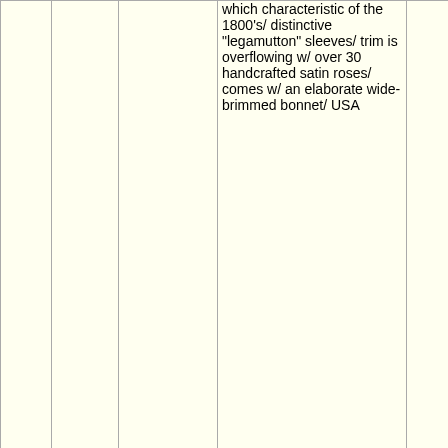| Year | Code | Name | Description | Series | Col6 | Col7 | Col8 |
| --- | --- | --- | --- | --- | --- | --- | --- |
| 1991 | C7611 | Catherine★ | which characteristic of the 1800's/ distinctive "legamutton" sleeves/ trim is overflowing w/ over 30 handcrafted satin roses/ comes w/ an elaborate wide-brimmed bonnet/ USA | Classics | 21 | 500 | 575 |
|  |  | Catherine | Wax over porcelain/ creamy pink reproduction drop waist dress w/ vintage look sheer overlays, lace trim & ribbon rosettes/ posable |  |  |  |  |